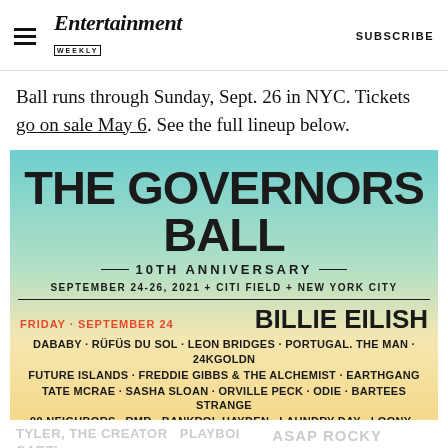Entertainment Weekly — SUBSCRIBE
Ball runs through Sunday, Sept. 26 in NYC. Tickets go on sale May 6. See the full lineup below.
[Figure (illustration): The Governors Ball 10th Anniversary festival poster. Background gradient from teal to yellow-green. Title: THE GOVERNORS BALL. Subtitle: 10TH ANNIVERSARY. Date/Location: SEPTEMBER 24-26, 2021 + CITI FIELD + NEW YORK CITY. Friday September 24 headliner: BILLIE EILISH. Supporting acts: DABABY · RÜFÜS DU SOL · LEON BRIDGES · PORTUGAL. THE MAN · 24KGOLDN · FUTURE ISLANDS · FREDDIE GIBBS & THE ALCHEMIST · EARTHGANG · TATE MCRAE · SASHA SLOAN · ORVILLE PECK · ODIE · BARTEES STRANGE · 99 NEIGHBORS · RMR · BANKROL HAYDEN · LAUNDRY DAY · LOONY · NASTY CHERRY]
ASAP ROCKY J.I.D.N (faded, partially visible at bottom)